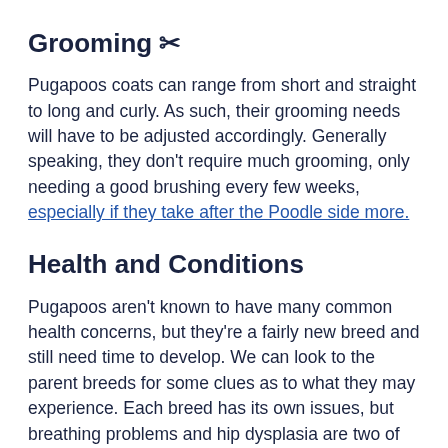Grooming ✂
Pugapoos coats can range from short and straight to long and curly. As such, their grooming needs will have to be adjusted accordingly. Generally speaking, they don't require much grooming, only needing a good brushing every few weeks, especially if they take after the Poodle side more.
Health and Conditions
Pugapoos aren't known to have many common health concerns, but they're a fairly new breed and still need time to develop. We can look to the parent breeds for some clues as to what they may experience. Each breed has its own issues, but breathing problems and hip dysplasia are two of the most prevalent.
Though most common in larger dog breeds, hip dysplasia can also be passed down genetically, and Poodles are